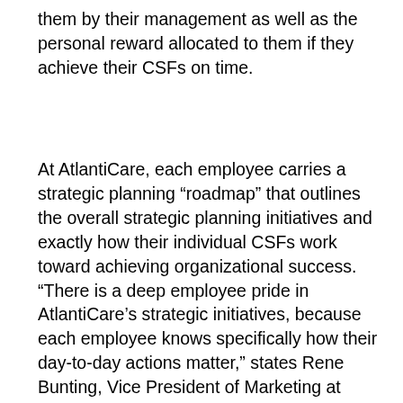them by their management as well as the personal reward allocated to them if they achieve their CSFs on time.
At AtlantiCare, each employee carries a strategic planning “roadmap” that outlines the overall strategic planning initiatives and exactly how their individual CSFs work toward achieving organizational success. “There is a deep employee pride in AtlantiCare’s strategic initiatives, because each employee knows specifically how their day-to-day actions matter,” states Rene Bunting, Vice President of Marketing at AtlantiCare. It is said that David Tilton, CEO of AtlantiCare, can walk up to any employee at any time and ask the questions noted above, and all employees are able to show him their roadmap and discuss how their contributions are